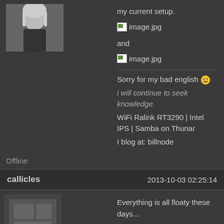my current setup.
[Figure (photo): Broken image placeholder labeled image.jpg]
and
[Figure (photo): Broken image placeholder labeled image.jpg]
Sorry for my bad english 🙂
i will continue to seek knowledge.
WiFi Ralink RT3290 | Intel IPS | Samba on Thunar
I blog at: billnode
Offline
callicles    2013-10-03 02:25:14
Everything is all floaty these days...
clean:
[Figure (screenshot): Broken image placeholder labeled Screenshot_10_02_13.jpg]